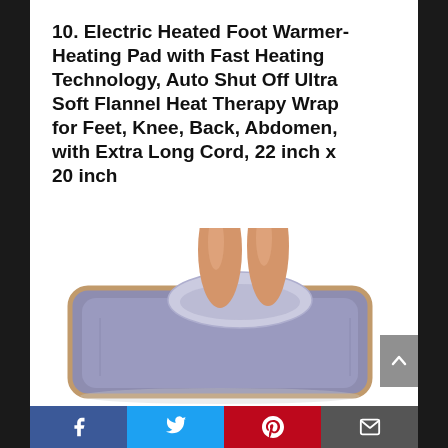10. Electric Heated Foot Warmer-Heating Pad with Fast Heating Technology, Auto Shut Off Ultra Soft Flannel Heat Therapy Wrap for Feet, Knee, Back, Abdomen, with Extra Long Cord, 22 inch x 20 inch
[Figure (photo): Photo of a purple/lavender electric heated foot warmer pad lying flat with a person's bare legs/feet inserted into the pocket opening at the top center of the pad. The pad has a brown/tan trim around the edges.]
Facebook | Twitter | Pinterest | Email